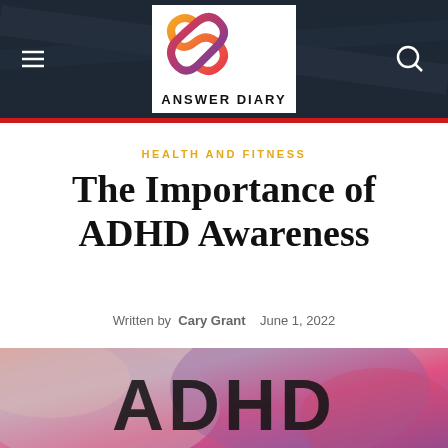[Figure (logo): Answer Diary website header with logo, hamburger menu icon, and search icon on dark background]
HEALTH AND FITNESS
The Importance of ADHD Awareness
Written by Cary Grant   June 1, 2022
[Figure (photo): ADHD text over colorful abstract background with pink and purple smoke/fluid art]